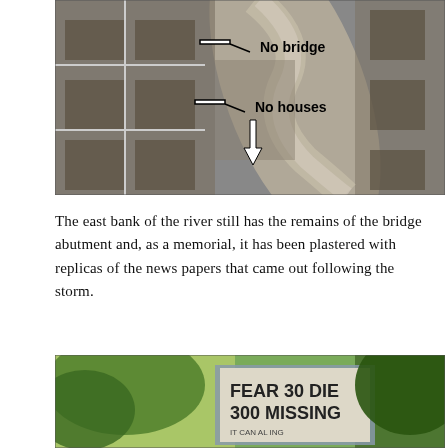[Figure (photo): Black and white aerial photograph of a river area with annotations 'No bridge' (with left-pointing arrow) and 'No houses' (with left-pointing and downward arrows) overlaid on the image.]
The east bank of the river still has the remains of the bridge abutment and, as a memorial, it has been plastered with replicas of the news papers that came out following the storm.
[Figure (photo): Color photograph showing trees and a large banner or newspaper replica plastered on a structure, partially visible text reads 'FEAR 30 DIE 300 MISSING'.]